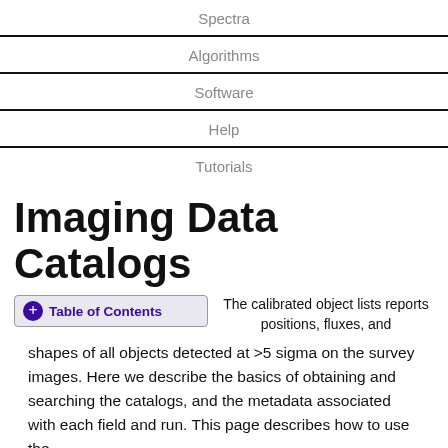Spectra
Algorithms
Software
Help
Tutorials
Imaging Data Catalogs
Table of Contents  The calibrated object lists reports positions, fluxes, and shapes of all objects detected at >5 sigma on the survey images. Here we describe the basics of obtaining and searching the catalogs, and the metadata associated with each field and run. This page describes how to use the